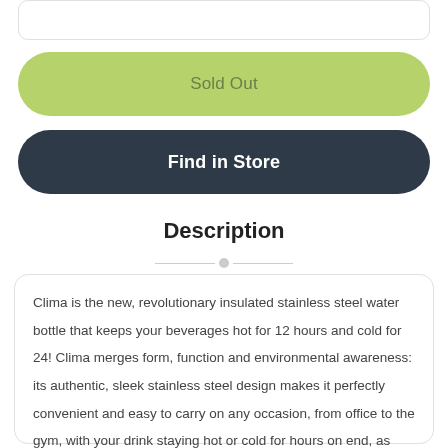Sold Out
Find in Store
Description
Clima is the new, revolutionary insulated stainless steel water bottle that keeps your beverages hot for 12 hours and cold for 24! Clima merges form, function and environmental awareness: its authentic, sleek stainless steel design makes it perfectly convenient and easy to carry on any occasion, from office to the gym, with your drink staying hot or cold for hours on end, as you like it.